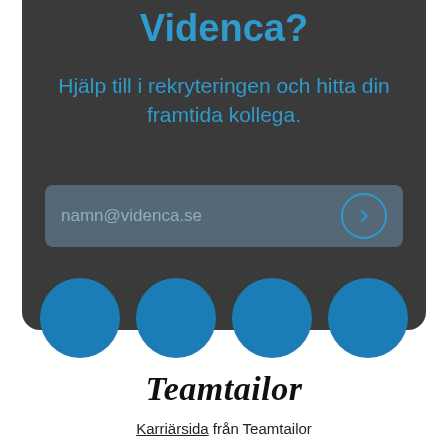Videnca?
Hjälp till i rekryteringen och hitta din framtida kollega.
namn@videnca.se
[Figure (infographic): Four blue circles arranged horizontally, representing social media or profile icons]
[Figure (logo): Teamtailor logo in italic script font]
Karriärsida från Teamtailor